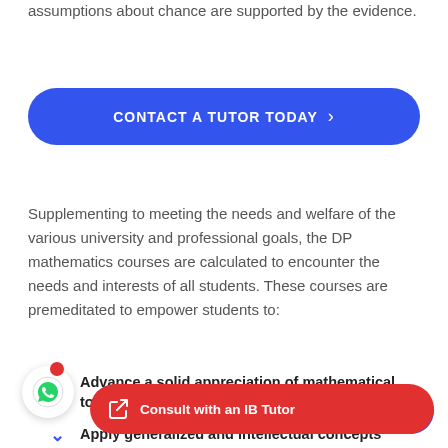assumptions about chance are supported by the evidence.
[Figure (other): Blue rounded button with text 'CONTACT A TUTOR TODAY >']
Supplementing to meeting the needs and welfare of the various university and professional goals, the DP mathematics courses are calculated to encounter the needs and interests of all students. These courses are premeditated to empower students to:
Advance a solid appreciation of mathematical topics, concepts, and knowledge
Apply generalized and intellectual concepts
[Figure (other): WhatsApp floating icon button (white circle with red notification dot)]
[Figure (other): Red 'Consult with an IB Tutor' floating button at the bottom of the page]